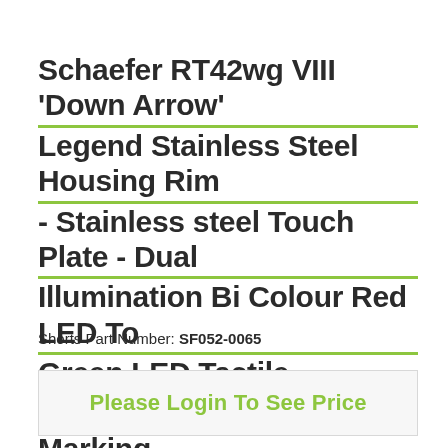Schaefer RT42wg VIII 'Down Arrow' Legend Stainless Steel Housing Rim - Stainless steel Touch Plate - Dual Illumination Bi Colour Red LED To Green LED Tactile Embossed Marking
Shorts Part Number: SF052-0065
Please Login To See Price